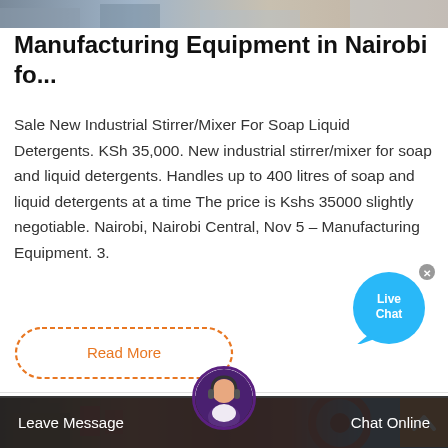[Figure (photo): Top portion of a webpage showing a partial photograph at the top]
Manufacturing Equipment in Nairobi fo...
Sale New Industrial Stirrer/Mixer For Soap Liquid Detergents. KSh 35,000. New industrial stirrer/mixer for soap and liquid detergents. Handles up to 400 litres of soap and liquid detergents at a time The price is Kshs 35000 slightly negotiable. Nairobi, Nairobi Central, Nov 5 – Manufacturing Equipment. 3.
[Figure (other): Live Chat bubble widget with blue circular chat icon and close X button]
[Figure (other): Read More button with dashed orange border and rounded corners]
[Figure (photo): Bottom section showing a manufacturing facility exterior with red machinery and gear wheel against blue sky, with orange back-to-top arrow button]
[Figure (other): Bottom navigation bar with Leave Message and Chat Online options, and customer service agent avatar in center]